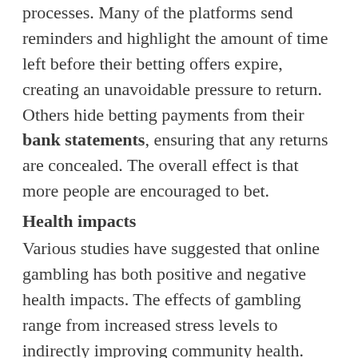processes. Many of the platforms send reminders and highlight the amount of time left before their betting offers expire, creating an unavoidable pressure to return. Others hide betting payments from their bank statements, ensuring that any returns are concealed. The overall effect is that more people are encouraged to bet.
Health impacts
Various studies have suggested that online gambling has both positive and negative health impacts. The effects of gambling range from increased stress levels to indirectly improving community health. Although gambling can be harmful, it can also promote wellness, such as improving mental health. The effects of online gambling on social relationships are also important to